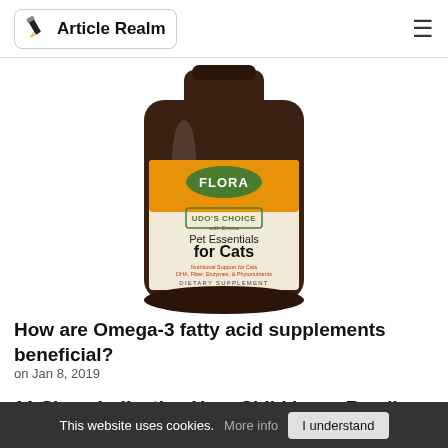Article Realm
[Figure (photo): A bottle of Flora Udo's Choice Pet Essentials for Cats dietary supplement, 8 oz (227g), with an orange floral label.]
How are Omega-3 fatty acid supplements beneficial?
on Jan 8, 2019
11 Signs Indicating Your Child has a Reading Problem
This website uses cookies. More info  I understand